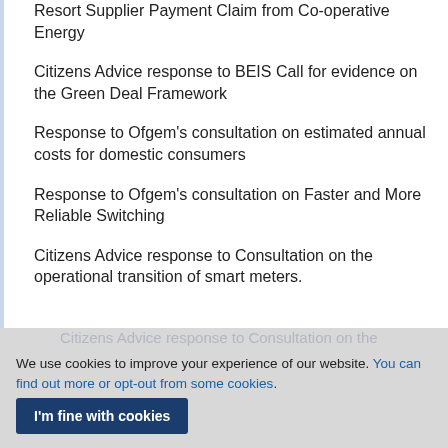Resort Supplier Payment Claim from Co-operative Energy
Citizens Advice response to BEIS Call for evidence on the Green Deal Framework
Response to Ofgem’s consultation on estimated annual costs for domestic consumers
Response to Ofgem’s consultation on Faster and More Reliable Switching
Citizens Advice response to Consultation on the operational transition of smart meters.
We use cookies to improve your experience of our website. You can find out more or opt-out from some cookies.
I’m fine with cookies